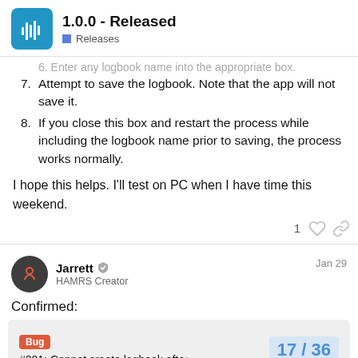1.0.0 - Released | Releases
7. Attempt to save the logbook. Note that the app will not save it.
8. If you close this box and restart the process while including the logbook name prior to saving, the process works normally.
I hope this helps. I'll test on PC when I have time this weekend.
Jarrett  HAMRS Creator  Jan 29
Confirmed:
[Figure (screenshot): Bug card preview showing '#201: Cannot create logbook afte' with a Bug tag label and page indicator 17/36]